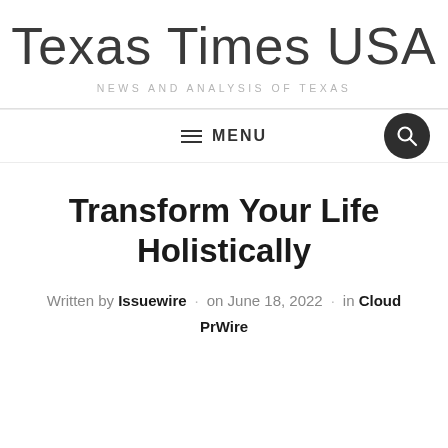Texas Times USA
NEWS AND ANALYSIS OF TEXAS
MENU
Transform Your Life Holistically
Written by Issuewire · on June 18, 2022 · in Cloud PrWire